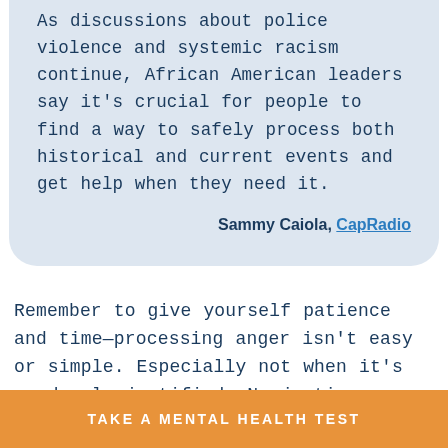As discussions about police violence and systemic racism continue, African American leaders say it's crucial for people to find a way to safely process both historical and current events and get help when they need it.
Sammy Caiola, CapRadio
Remember to give yourself patience and time—processing anger isn't easy or simple. Especially not when it's so deeply justified. No justice, no
TAKE A MENTAL HEALTH TEST